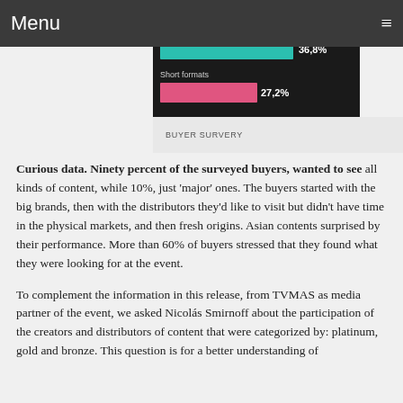Menu
[Figure (bar-chart): Docs & factual / Short formats]
BUYER SURVERY
Curious data. Ninety percent of the surveyed buyers, wanted to see all kinds of content, while 10%, just 'major' ones. The buyers started with the big brands, then with the distributors they'd like to visit but didn't have time in the physical markets, and then fresh origins. Asian contents surprised by their performance. More than 60% of buyers stressed that they found what they were looking for at the event.
To complement the information in this release, from TVMAS as media partner of the event, we asked Nicolás Smirnoff about the participation of the creators and distributors of content that were categorized by: platinum, gold and bronze. This question is for a better understanding of